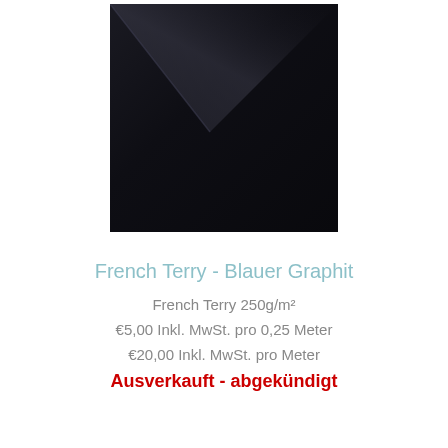[Figure (photo): Close-up photo of dark navy/graphite French Terry fabric, showing diagonal fold with smooth surface texture.]
French Terry - Blauer Graphit
French Terry 250g/m²
€5,00 Inkl. MwSt. pro 0,25 Meter
€20,00 Inkl. MwSt. pro Meter
Ausverkauft - abgekündigt